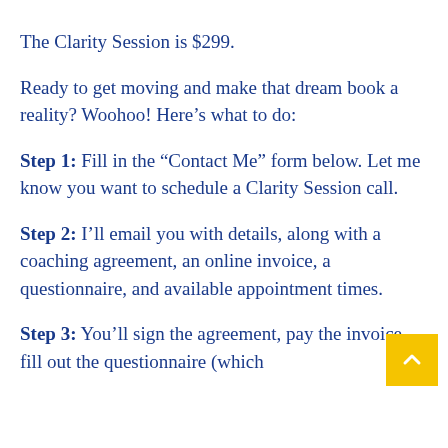The Clarity Session is $299.
Ready to get moving and make that dream book a reality? Woohoo! Here’s what to do:
Step 1: Fill in the “Contact Me” form below. Let me know you want to schedule a Clarity Session call.
Step 2: I’ll email you with details, along with a coaching agreement, an online invoice, a questionnaire, and available appointment times.
Step 3: You’ll sign the agreement, pay the invoice, fill out the questionnaire (which